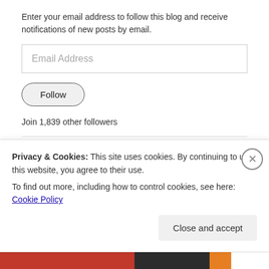Enter your email address to follow this blog and receive notifications of new posts by email.
Email Address
Follow
Join 1,839 other followers
©Linda Arthur Tejera and Living With My Ancestors (2013-Present). Unauthorized use and/or duplication of this material without express and written permission from this blog's author and/or owner is strictly
Privacy & Cookies: This site uses cookies. By continuing to use this website, you agree to their use.
To find out more, including how to control cookies, see here: Cookie Policy
Close and accept